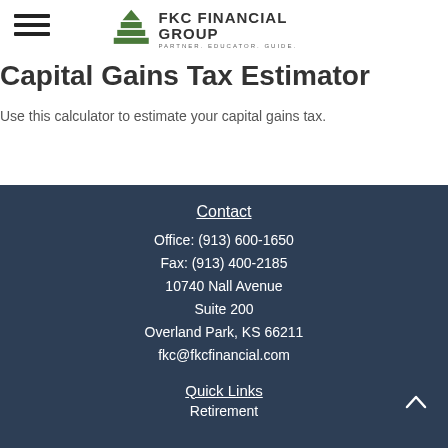FKC FINANCIAL GROUP — PARTNER. EDUCATOR. GUIDE.
Capital Gains Tax Estimator
Use this calculator to estimate your capital gains tax.
Contact
Office: (913) 600-1650
Fax: (913) 400-2185
10740 Nall Avenue
Suite 200
Overland Park, KS 66211
fkc@fkcfinancial.com
Quick Links
Retirement